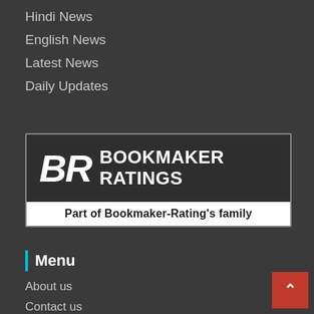Hindi News
English News
Latest News
Daily Updates
[Figure (logo): Bookmaker Ratings logo — white BR letters on dark background with text BOOKMAKER RATINGS, and below: Part of Bookmaker-Rating's family on white background]
Menu
About us
Contact us
Advertisement
Privacy Policy for BHARAT TIMES